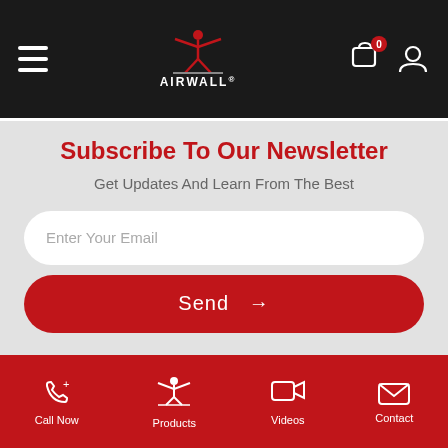[Figure (logo): AirWall logo with hamburger menu, logo icon and text AIRWALL, cart icon with 0 badge, and user profile icon on dark navbar]
Subscribe To Our Newsletter
Get Updates And Learn From The Best
[Figure (screenshot): Email input field with placeholder 'Enter Your Email']
[Figure (screenshot): Red Send button with arrow]
Call Now | Products | Videos | Contact